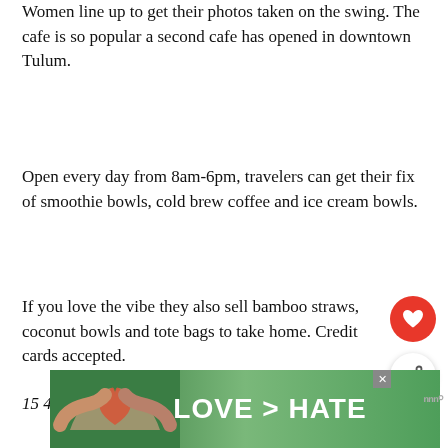Women line up to get their photos taken on the swing. The cafe is so popular a second cafe has opened in downtown Tulum.
Open every day from 8am-6pm, travelers can get their fix of smoothie bowls, cold brew coffee and ice cream bowls.
If you love the vibe they also sell bamboo straws, coconut bowls and tote bags to take home. Credit cards accepted.
15 470 Zona Hotelera, Tulum
[Figure (other): What's Next widget showing a circular food image with text 'A Local's Guide to the...' and red arrow label 'WHAT'S NEXT']
[Figure (other): Advertisement banner with green background showing hands forming heart shape and text 'LOVE > HATE']